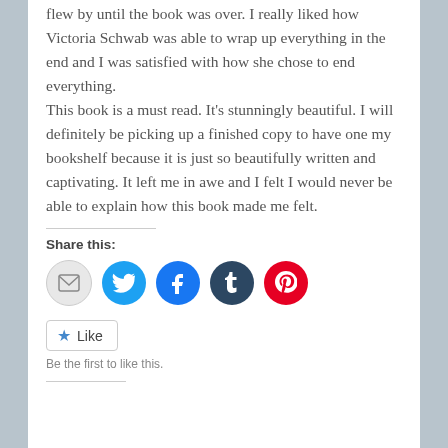flew by until the book was over. I really liked how Victoria Schwab was able to wrap up everything in the end and I was satisfied with how she chose to end everything.
This book is a must read. It's stunningly beautiful. I will definitely be picking up a finished copy to have one my bookshelf because it is just so beautifully written and captivating. It left me in awe and I felt I would never be able to explain how this book made me felt.
Share this:
[Figure (infographic): Row of social share buttons: Email (grey circle with envelope icon), Twitter (blue circle with bird icon), Facebook (blue circle with f icon), Tumblr (dark blue circle with t icon), Pinterest (red circle with P icon)]
Like
Be the first to like this.